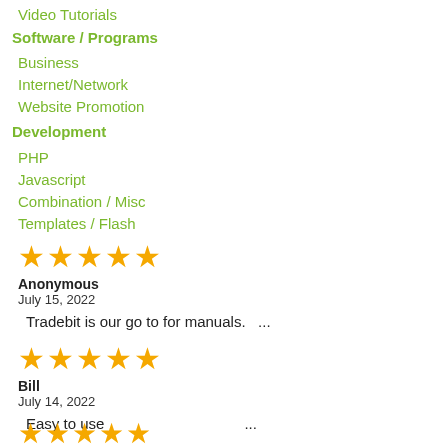Video Tutorials
Software / Programs
Business
Internet/Network
Website Promotion
Development
PHP
Javascript
Combination / Misc
Templates / Flash
★★★★★
Anonymous
July 15, 2022
Tradebit is our go to for manuals.   ...
★★★★★
Bill
July 14, 2022
Easy to use   ...